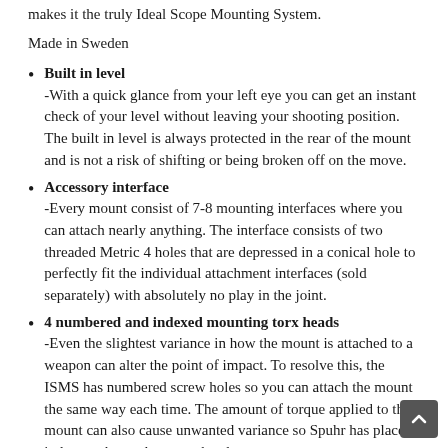makes it the truly Ideal Scope Mounting System.
Made in Sweden
Built in level
-With a quick glance from your left eye you can get an instant check of your level without leaving your shooting position. The built in level is always protected in the rear of the mount and is not a risk of shifting or being broken off on the move.
Accessory interface
-Every mount consist of 7-8 mounting interfaces where you can attach nearly anything. The interface consists of two threaded Metric 4 holes that are depressed in a conical hole to perfectly fit the individual attachment interfaces (sold separately) with absolutely no play in the joint.
4 numbered and indexed mounting torx heads
-Even the slightest variance in how the mount is attached to a weapon can alter the point of impact. To resolve this, the ISMS has numbered screw holes so you can attach the mount the same way each time. The amount of torque applied to the mount can also cause unwanted variance so Spuhr has placed index marks on the screw head so you can